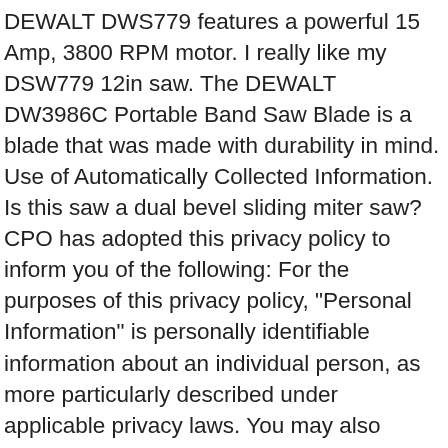DEWALT DWS779 features a powerful 15 Amp, 3800 RPM motor. I really like my DSW779 12in saw. The DEWALT DW3986C Portable Band Saw Blade is a blade that was made with durability in mind. Use of Automatically Collected Information. Is this saw a dual bevel sliding miter saw? CPO has adopted this privacy policy to inform you of the following: For the purposes of this privacy policy, "Personal Information" is personally identifiable information about an individual person, as more particularly described under applicable privacy laws. You may also provide Personal Information when you participate in various services and offerings on the CPO Sites. Slightly more if you override the stop. Have used other sliding dbl. Please note that our rights to use your Personal Information will be based on the privacy policy in effect at the time the information is collected. It is stuck and canât be rotated. Automatically collected information and your Personal Information may be transferred as an asset in connection with a merger or sale involving all or part of CPO or as part of a